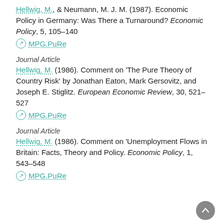Hellwig, M., & Neumann, M. J. M. (1987). Economic Policy in Germany: Was There a Turnaround? Economic Policy, 5, 105–140
MPG.PuRe
Journal Article
Hellwig, M. (1986). Comment on 'The Pure Theory of Country Risk' by Jonathan Eaton, Mark Gersovitz, and Joseph E. Stiglitz. European Economic Review, 30, 521–527
MPG.PuRe
Journal Article
Hellwig, M. (1986). Comment on 'Unemployment Flows in Britain: Facts, Theory and Policy. Economic Policy, 1, 543–548
MPG.PuRe